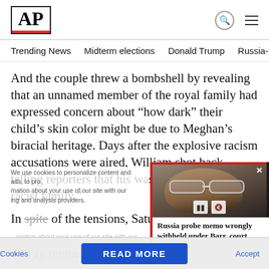AP
Trending News  Midterm elections  Donald Trump  Russia-Ukr
And the couple threw a bombshell by revealing that an unnamed member of the royal family had expressed concern about “how dark” their child’s skin color might be due to Meghan’s biracial heritage. Days after the explosive racism accusations were aired, William shot back, telling reporters that his was “very much not a racist family.”
In spite of the tensions, Saturday’s also briefly remind the brothers of th another royal funeral more than t when, as young boys, both walked b
[Figure (screenshot): Video popup showing a man with glasses (appears to be William Barr) with video playback controls and close button. Caption reads: Russia probe memo wrongly withheld under Barr, court ...]
READ MORE